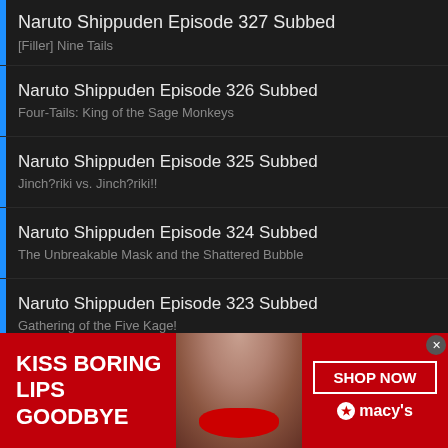Naruto Shippuden Episode 327 Subbed
[Filler] Nine Tails
Naruto Shippuden Episode 326 Subbed
Four-Tails: King of the Sage Monkeys
Naruto Shippuden Episode 325 Subbed
Jinch?riki vs. Jinch?riki!!
Naruto Shippuden Episode 324 Subbed
The Unbreakable Mask and the Shattered Bubble
Naruto Shippuden Episode 323 Subbed
Gathering of the Five Kage!
Naruto Shippuden Episode 322 Subbed
Madara Uchiha
[Figure (screenshot): Macy's advertisement banner: red background with text 'KISS BORING LIPS GOODBYE', a woman's face with red lips, 'SHOP NOW' button, and Macy's star logo]